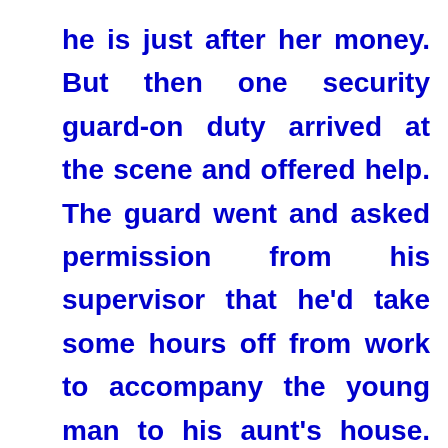he is just after her money. But then one security guard-on duty arrived at the scene and offered help. The guard went and asked permission from his supervisor that he'd take some hours off from work to accompany the young man to his aunt's house. While in the cab, the guard said: ‘If your aunt is not in the place where we are going you